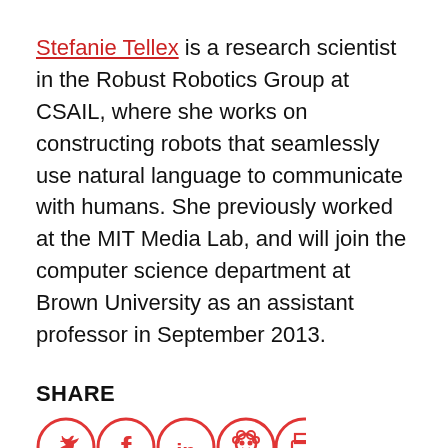Stefanie Tellex is a research scientist in the Robust Robotics Group at CSAIL, where she works on constructing robots that seamlessly use natural language to communicate with humans. She previously worked at the MIT Media Lab, and will join the computer science department at Brown University as an assistant professor in September 2013.
SHARE
[Figure (infographic): Five circular social share icons in red: Twitter, Facebook, LinkedIn, Reddit, Print]
RELATED LINKS
01. AI's 10 to Watch